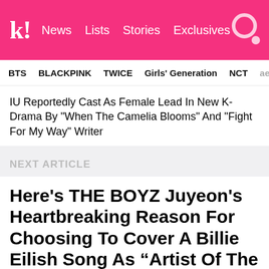k! News Lists Stories Exclusives
BTS BLACKPINK TWICE Girls' Generation NCT aespa
IU Reportedly Cast As Female Lead In New K-Drama By "When The Camelia Blooms" And "Fight For My Way" Writer
NEXT ARTICLE
Here's THE BOYZ Juyeon's Heartbreaking Reason For Choosing To Cover A Billie Eilish Song As “Artist Of The Month”
This makes his performance even more